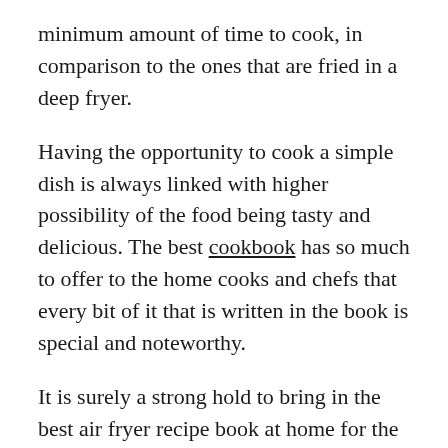minimum amount of time to cook, in comparison to the ones that are fried in a deep fryer.
Having the opportunity to cook a simple dish is always linked with higher possibility of the food being tasty and delicious. The best cookbook has so much to offer to the home cooks and chefs that every bit of it that is written in the book is special and noteworthy.
It is surely a strong hold to bring in the best air fryer recipe book at home for the best experience. On a recent business trip to New York City, I was going through security at a big publishing house where I had to sign in and show proper ID to the receptionist.
She was quite distracted as there was a big line forming making her a bit cranky. If a little kiddo were to happen by and pull the cord, it magically